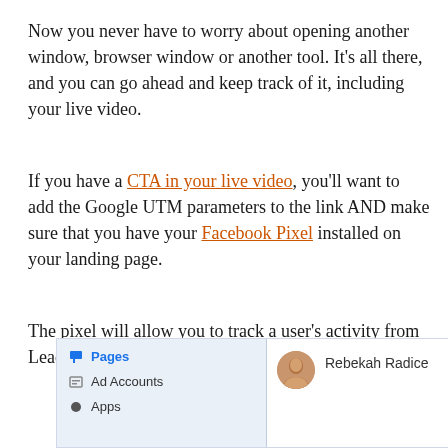Now you never have to worry about opening another window, browser window or another tool. It's all there, and you can go ahead and keep track of it, including your live video.
If you have a CTA in your live video, you'll want to add the Google UTM parameters to the link AND make sure that you have your Facebook Pixel installed on your landing page.
The pixel will allow you to track a user's activity from Lead to Registration to Purchase.
[Figure (screenshot): Screenshot of a Facebook interface showing a left panel with menu items: Pages (highlighted in blue), Ad Accounts, and Apps; and a right panel showing a profile entry for Rebekah Radice with a circular avatar photo.]